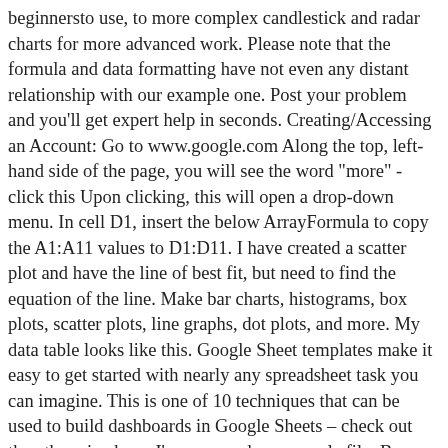beginners to use, to more complex candlestick and radar charts for more advanced work. Please note that the formula and data formatting have not even any distant relationship with our example one. Post your problem and you'll get expert help in seconds. Creating/Accessing an Account: Go to www.google.com Along the top, left-hand side of the page, you will see the word "more" - click this Upon clicking, this will open a drop-down menu. In cell D1, insert the below ArrayFormula to copy the A1:A11 values to D1:D11. I have created a scatter plot and have the line of best fit, but need to find the equation of the line. Make bar charts, histograms, box plots, scatter plots, line graphs, dot plots, and more. My data table looks like this. Google Sheet templates make it easy to get started with nearly any spreadsheet task you can imagine. This is one of 10 techniques that can be used to build dashboards in Google Sheets – check out the other nine here. I've prepared an example file: Box Plot example (sample data). Here are the steps to follow that are almost similar to our example 1. By continuing to use this website, you agree to their use. Double click on the legend and hit the 'Delete' button to remove the Legends as per example 1. Just count the dots. Creating a